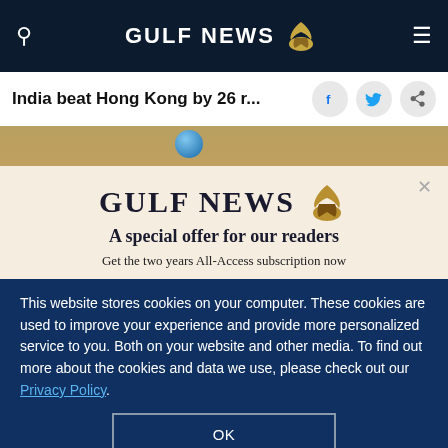GULF NEWS
India beat Hong Kong by 26 r...
[Figure (photo): Partial photo strip showing a cricket ball against a blurred background]
GULF NEWS — A special offer for our readers
Get the two years All-Access subscription now
This website stores cookies on your computer. These cookies are used to improve your experience and provide more personalized service to you. Both on your website and other media. To find out more about the cookies and data we use, please check out our Privacy Policy.
OK